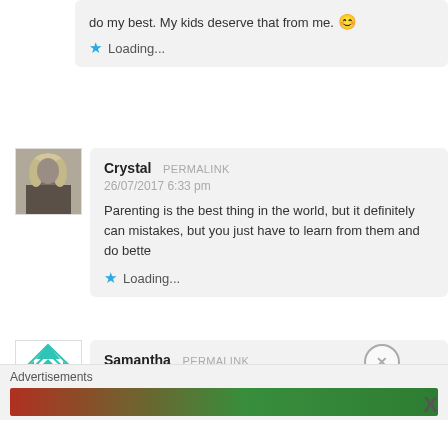do my best. My kids deserve that from me. 😊
Loading...
[Figure (photo): Avatar photo of Crystal, a woman with blonde hair in black and white]
Crystal PERMALINK
26/07/2017 6:33 pm
Parenting is the best thing in the world, but it definitely can mistakes, but you just have to learn from them and do bette
Loading...
[Figure (illustration): Avatar icon with cyan/teal geometric diamond pattern on white background]
Samantha PERMALINK
26/07/2017 6:41 pm
Advertisements
X